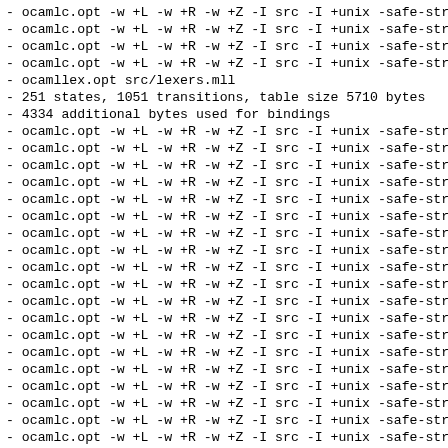- ocamlc.opt -w +L -w +R -w +Z -I src -I +unix -safe-str
- ocamlc.opt -w +L -w +R -w +Z -I src -I +unix -safe-str
- ocamlc.opt -w +L -w +R -w +Z -I src -I +unix -safe-str
- ocamlc.opt -w +L -w +R -w +Z -I src -I +unix -safe-str
- ocamllex.opt src/lexers.mll
- 251 states, 1051 transitions, table size 5710 bytes
- 4334 additional bytes used for bindings
- ocamlc.opt -w +L -w +R -w +Z -I src -I +unix -safe-str
- ocamlc.opt -w +L -w +R -w +Z -I src -I +unix -safe-str
- ocamlc.opt -w +L -w +R -w +Z -I src -I +unix -safe-str
- ocamlc.opt -w +L -w +R -w +Z -I src -I +unix -safe-str
- ocamlc.opt -w +L -w +R -w +Z -I src -I +unix -safe-str
- ocamlc.opt -w +L -w +R -w +Z -I src -I +unix -safe-str
- ocamlc.opt -w +L -w +R -w +Z -I src -I +unix -safe-str
- ocamlc.opt -w +L -w +R -w +Z -I src -I +unix -safe-str
- ocamlc.opt -w +L -w +R -w +Z -I src -I +unix -safe-str
- ocamlc.opt -w +L -w +R -w +Z -I src -I +unix -safe-str
- ocamlc.opt -w +L -w +R -w +Z -I src -I +unix -safe-str
- ocamlc.opt -w +L -w +R -w +Z -I src -I +unix -safe-str
- ocamlc.opt -w +L -w +R -w +Z -I src -I +unix -safe-str
- ocamlc.opt -w +L -w +R -w +Z -I src -I +unix -safe-str
- ocamlc.opt -w +L -w +R -w +Z -I src -I +unix -safe-str
- ocamlc.opt -w +L -w +R -w +Z -I src -I +unix -safe-str
- ocamlc.opt -w +L -w +R -w +Z -I src -I +unix -safe-str
- ocamlc.opt -w +L -w +R -w +Z -I src -I +unix -safe-str
- ocamlc.opt -w +L -w +R -w +Z -I src -I +unix -safe-str